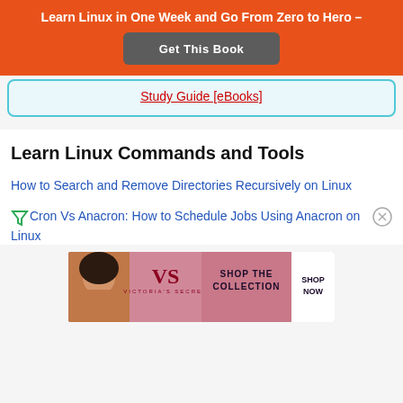Learn Linux in One Week and Go From Zero to Hero –
Get This Book
Study Guide [eBooks]
Learn Linux Commands and Tools
How to Search and Remove Directories Recursively on Linux
Cron Vs Anacron: How to Schedule Jobs Using Anacron on Linux
[Figure (photo): Victoria's Secret advertisement banner showing a woman and 'SHOP THE COLLECTION SHOP NOW' text]